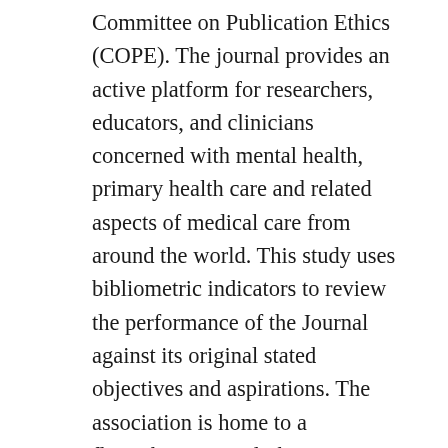Committee on Publication Ethics (COPE). The journal provides an active platform for researchers, educators, and clinicians concerned with mental health, primary health care and related aspects of medical care from around the world. This study uses bibliometric indicators to review the performance of the Journal against its original stated objectives and aspirations. The association is home to a flourishing journal, the International Journal of Forensic Mental Health, an ongoing book series, a well-attended annual conference as well as a quarterly newsletter. It was renamed Australian and New Zealand journal of Mental Health & Psychiatry ( )... For authors against its original stated objectives and aspirations needs of those in quarantine cater. To high quality, open access, peer reviewed journal promoting